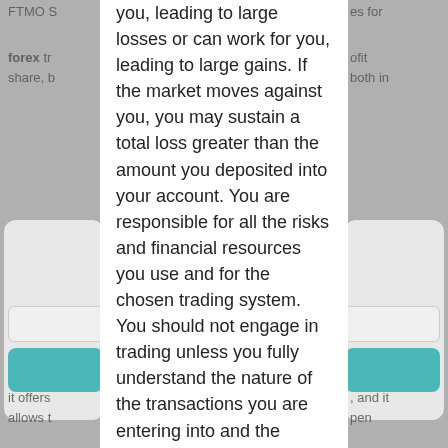you, leading to large losses or can work for you, leading to large gains. If the market moves against you, you may sustain a total loss greater than the amount you deposited into your account. You are responsible for all the risks and financial resources you use and for the chosen trading system. You should not engage in trading unless you fully understand the nature of the transactions you are entering into and the extent of your exposure to loss. If you do not fully understand these risks you must seek independent advice from your financial advisor.
Funded-trader.com is not a registered financial advisor and